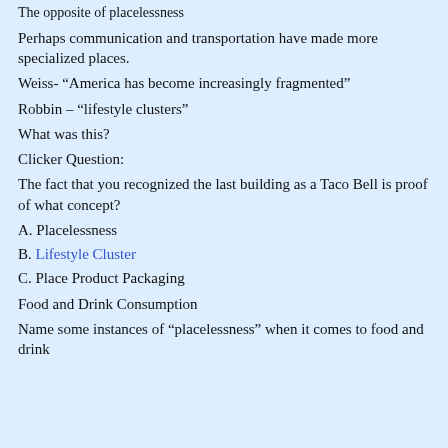The opposite of placelessness
Perhaps communication and transportation have made more specialized places.
Weiss- “America has become increasingly fragmented”
Robbin – “lifestyle clusters”
What was this?
Clicker Question:
The fact that you recognized the last building as a Taco Bell is proof of what concept?
A. Placelessness
B. Lifestyle Cluster
C. Place Product Packaging
Food and Drink Consumption
Name some instances of “placelessness” when it comes to food and drink